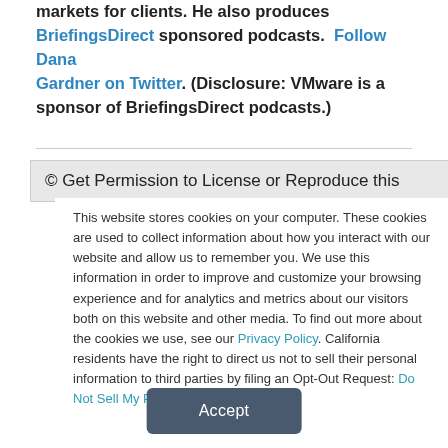of enterprise applications and software infrastructure markets for clients. He also produces BriefingsDirect sponsored podcasts. Follow Dana Gardner on Twitter. (Disclosure: VMware is a sponsor of BriefingsDirect podcasts.)
© Get Permission to License or Reproduce this
This website stores cookies on your computer. These cookies are used to collect information about how you interact with our website and allow us to remember you. We use this information in order to improve and customize your browsing experience and for analytics and metrics about our visitors both on this website and other media. To find out more about the cookies we use, see our Privacy Policy. California residents have the right to direct us not to sell their personal information to third parties by filing an Opt-Out Request: Do Not Sell My Personal Info.